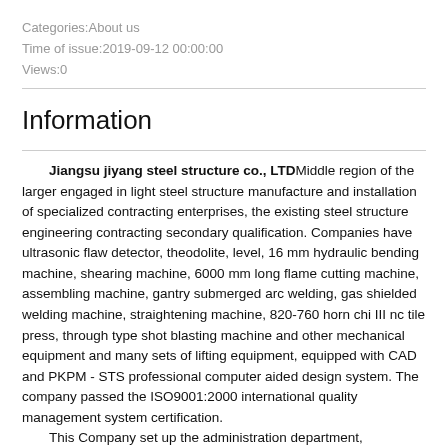Categories:About us
Time of issue:2019-09-12 00:00:00
Views:0
Information
Jiangsu jiyang steel structure co., LTD Middle region of the larger engaged in light steel structure manufacture and installation of specialized contracting enterprises, the existing steel structure engineering contracting secondary qualification. Companies have ultrasonic flaw detector, theodolite, level, 16 mm hydraulic bending machine, shearing machine, 6000 mm long flame cutting machine, assembling machine, gantry submerged arc welding, gas shielded welding machine, straightening machine, 820-760 horn chi III nc tile press, through type shot blasting machine and other mechanical equipment and many sets of lifting equipment, equipped with CAD and PKPM - STS professional computer aided design system. The company passed the ISO9001:2000 international quality management system certification.
	This Company set up the administration department, technology department, finance department, engineering department, qc department, purchase department, production department and other seven departments and five engineering projects. Company existing staff 188 people, economic management and engineering technical